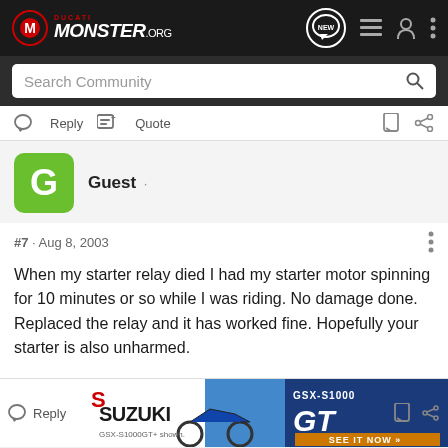[Figure (screenshot): DucatiMonster.org website top navigation bar with logo, NEW chat button, list icon, user icon, and three-dot menu]
Search Community
Reply  Quote
Guest ·
#7 · Aug 8, 2003
When my starter relay died I had my starter motor spinning for 10 minutes or so while I was riding. No damage done. Replaced the relay and it has worked fine. Hopefully your starter is also unharmed.
[Figure (photo): Suzuki GSX-S1000GT advertisement banner showing motorcycle and rider with 'SEE IT NOW' call to action]